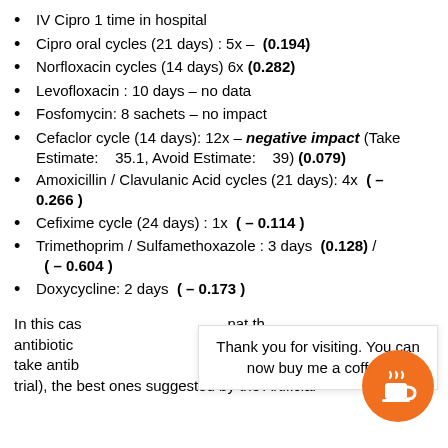IV Cipro 1 time in hospital
Cipro oral cycles (21 days) : 5x – (0.194)
Norfloxacin cycles (14 days) 6x (0.282)
Levofloxacin : 10 days – no data
Fosfomycin: 8 sachets – no impact
Cefaclor cycle (14 days): 12x – negative impact (Take Estimate: 35.1, Avoid Estimate: 39) (0.079)
Amoxicillin / Clavulanic Acid cycles (21 days): 4x ( – 0.266 )
Cefixime cycle (24 days) : 1x ( – 0.114 )
Trimethoprim / Sulfamethoxazole : 3 days (0.128) / ( – 0.604 )
Doxycycline: 2 days ( – 0.173 )
In this cas  that the antibiotic  he take antib  MD  trial), the best ones suggested by the Artificial
Thank you for visiting. You can now buy me a coffee!